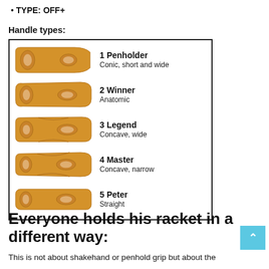TYPE: OFF+
Handle types:
[Figure (illustration): Five table tennis paddle handle types illustrated with SVG shapes: 1 Penholder (Conic, short and wide), 2 Winner (Anatomic), 3 Legend (Concave, wide), 4 Master (Concave, narrow), 5 Peter (Straight)]
Everyone holds his racket in a different way:
This is not about shakehand or penhold grip but about the